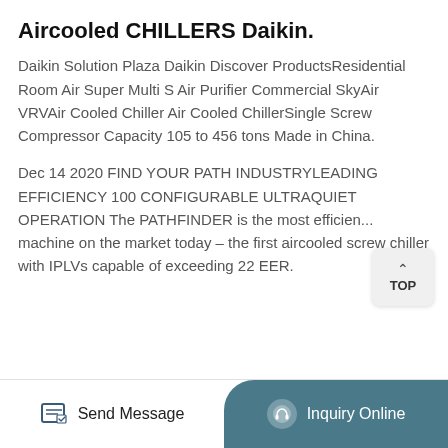Aircooled CHILLERS Daikin.
Daikin Solution Plaza Daikin Discover ProductsResidential Room Air Super Multi S Air Purifier Commercial SkyAir VRVAir Cooled Chiller Air Cooled ChillerSingle Screw Compressor Capacity 105 to 456 tons Made in China.
Dec 14 2020 FIND YOUR PATH INDUSTRYLEADING EFFICIENCY 100 CONFIGURABLE ULTRAQUIET OPERATION The PATHFINDER is the most efficient machine on the market today – the first aircooled screw chiller with IPLVs capable of exceeding 22 EER.
Send Message   Inquiry Online